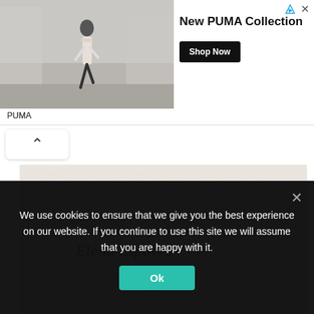[Figure (screenshot): Advertisement banner for New PUMA Collection showing a person running in a city street with white coat, with Shop Now button]
PUMA
[Figure (photo): A beige/cream colored card or paper with a handwritten signature reading 'Elena Lipovra' or similar cursive text]
[Figure (photo): Second photo with warm beige/peach gradient background, showing partial view of a hand or object at the bottom]
We use cookies to ensure that we give you the best experience on our website. If you continue to use this site we will assume that you are happy with it.
Ok